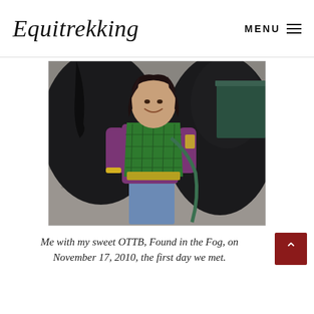Equitrekking | MENU
[Figure (photo): A smiling woman wearing a green quilted vest over a purple long-sleeve shirt, standing next to a dark horse, holding a green lead rope. Outdoor stable setting with gravel ground.]
Me with my sweet OTTB, Found in the Fog, on November 17, 2010, the first day we met.